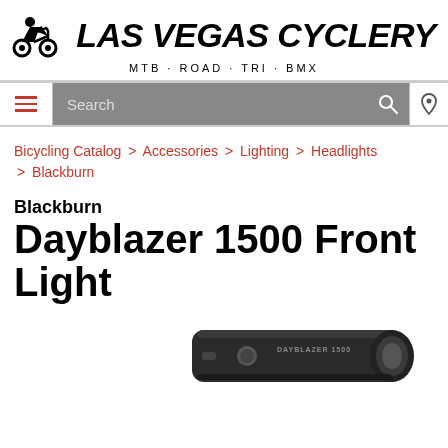[Figure (logo): Las Vegas Cyclery logo with cyclist icon, bold italic text 'LAS VEGAS CYCLERY' and tagline 'MTB·ROAD·TRI·BMX']
Search
Bicycling Catalog > Accessories > Lighting > Headlights > Blackburn
Blackburn
Dayblazer 1500 Front Light
[Figure (photo): Blackburn Dayblazer 1500 front bicycle light, black colored, partially visible at bottom of page]